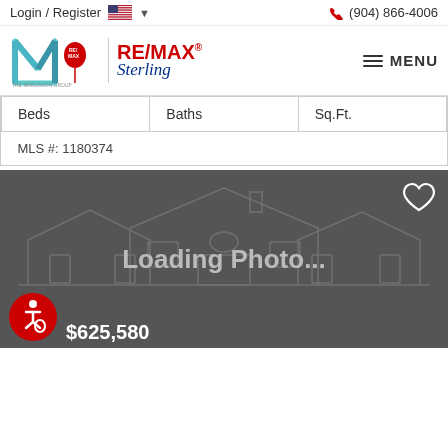Login / Register  🇺🇸 ▾   (904) 866-4006
[Figure (logo): RE/MAX Sterling - The Marganon Group logo with stylized M and RE/MAX balloon icon]
| Beds | Baths | Sq.Ft. |
| --- | --- | --- |
| MLS #: 1180374 |  |  |
[Figure (screenshot): Property listing photo placeholder showing 'Loading Photo...' text over a grey house outline illustration with a heart icon in the top right corner]
$625,580